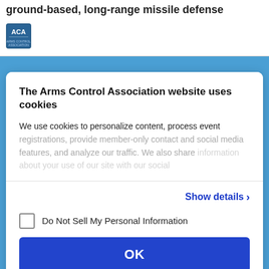ground-based, long-range missile defense
[Figure (logo): ACA (Arms Control Association) logo - blue square with white text]
The Arms Control Association website uses cookies
We use cookies to personalize content, process event registrations, provide member-only contact and social media features, and analyze our traffic. We also share information about your use of our site with our social
Show details >
Do Not Sell My Personal Information
OK
Powered by Cookiebot by Usercentrics